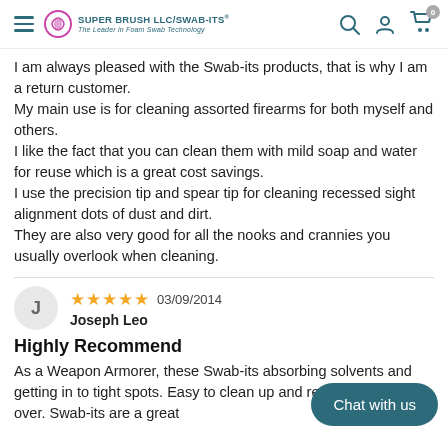SUPER BRUSH LLC/SWAB-ITS® The Leader in Foam Swab Technology
I am always pleased with the Swab-its products, that is why I am a return customer.
My main use is for cleaning assorted firearms for both myself and others.
I like the fact that you can clean them with mild soap and water for reuse which is a great cost savings.
I use the precision tip and spear tip for cleaning recessed sight alignment dots of dust and dirt.
They are also very good for all the nooks and crannies you usually overlook when cleaning.
J  ★★★★★  03/09/2014  Joseph Leo
Highly Recommend
As a Weapon Armorer, these Swab-its absorbing solvents and getting in to tight spots. Easy to clean up and reuse over and over. Swab-its are a great